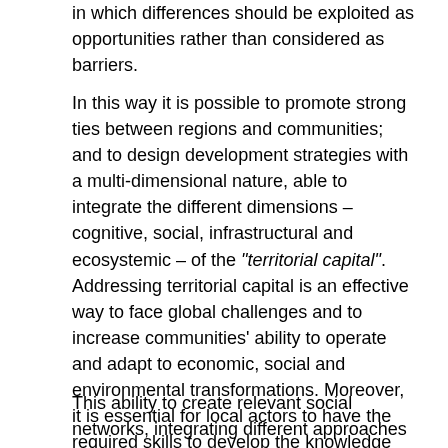in which differences should be exploited as opportunities rather than considered as barriers.
In this way it is possible to promote strong ties between regions and communities; and to design development strategies with a multi-dimensional nature, able to integrate the different dimensions – cognitive, social, infrastructural and ecosystemic – of the "territorial capital". Addressing territorial capital is an effective way to face global challenges and to increase communities' ability to operate and adapt to economic, social and environmental transformations. Moreover, it is essential for local actors to have the required skills to develop the knowledge and specific skills to promote regional partnerships based on integrated public policies, and to be able to value their own human, environmental and institutional resources.
This ability to create relevant social networks, integrating different approaches and experiences, underlies the work